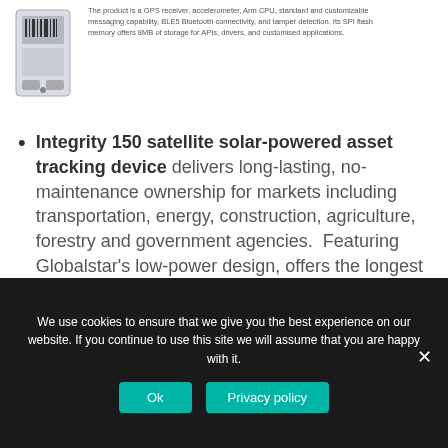[Figure (photo): Photo of a small rectangular asset tracking device with a barcode label]
The product is a GPS receiver, accelerometer, Arm CPU, standard and customizable messaging capability, BLE5 Bluetooth connectivity, and tamper detection. Its SPI flash memory offers 8MB of storage for APIs, drivers, and customised applications.
Integrity 150 satellite solar-powered asset tracking device delivers long-lasting, no-maintenance ownership for markets including transportation, energy, construction, agriculture, forestry and government agencies.  Featuring Globalstar's low-power design, offers the longest battery and shelf life available. Integrated into the product is a GPS receiver, accelerometer, Arm CPU on
We use cookies to ensure that we give you the best experience on our website. If you continue to use this site we will assume that you are happy with it.